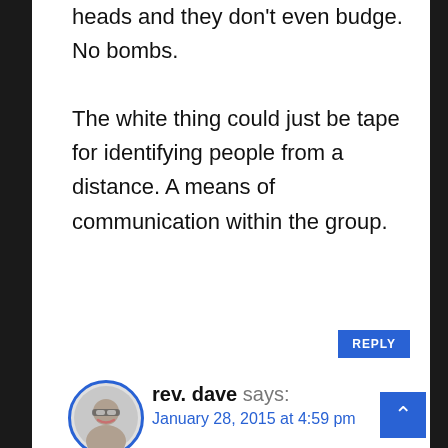heads and they don't even budge. No bombs. The white thing could just be tape for identifying people from a distance. A means of communication within the group.
REPLY
rev. dave says:
January 28, 2015 at 4:59 pm